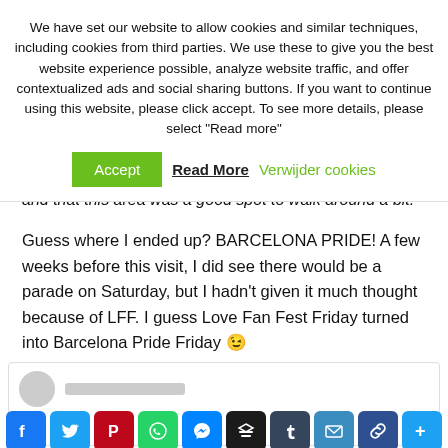We have set our website to allow cookies and similar techniques, including cookies from third parties. We use these to give you the best website experience possible, analyze website traffic, and offer contextualized ads and social sharing buttons. If you want to continue using this website, please click accept. To see more details, please select “Read more”
Accept | Read More | Verwijder cookies
and that this area was a good spot to walk around a bit.
Guess where I ended up? BARCELONA PRIDE! A few weeks before this visit, I did see there would be a parade on Saturday, but I hadn’t given it much thought because of LFF. I guess Love Fan Fest Friday turned into Barcelona Pride Friday 😉
[Figure (other): Social sharing buttons bar with Facebook, Twitter, Pinterest, WhatsApp, Messenger, Buffer, Tumblr, Email, Link, and More icons]